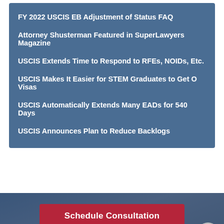FY 2022 USCIS EB Adjustment of Status FAQ
Attorney Shusterman Featured in SuperLawyers Magazine
USCIS Extends Time to Respond to RFEs, NOIDs, Etc.
USCIS Makes It Easier for STEM Graduates to Get O Visas
USCIS Automatically Extends Many EADs for 540 Days
USCIS Announces Plan to Reduce Backlogs
Schedule Consultation
Zoom Consultations Available!
Do you need help with your immigration case? It's easy to